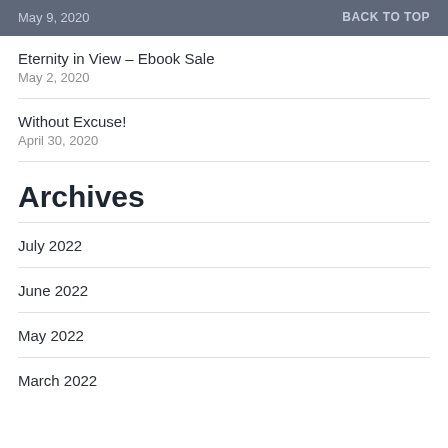May 9, 2020 | BACK TO TOP
Eternity in View – Ebook Sale
May 2, 2020
Without Excuse!
April 30, 2020
Archives
July 2022
June 2022
May 2022
March 2022